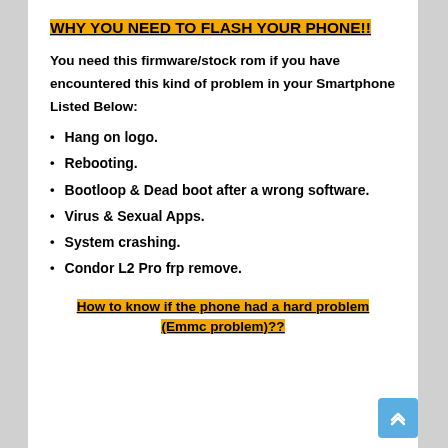WHY YOU NEED TO FLASH YOUR PHONE!!
You need this firmware/stock rom if you have encountered this kind of problem in your Smartphone Listed Below:
Hang on logo.
Rebooting.
Bootloop & Dead boot after a wrong software.
Virus & Sexual Apps.
System crashing.
Condor L2 Pro frp remove.
How to know if the phone had a hard problem (Emmc problem)??